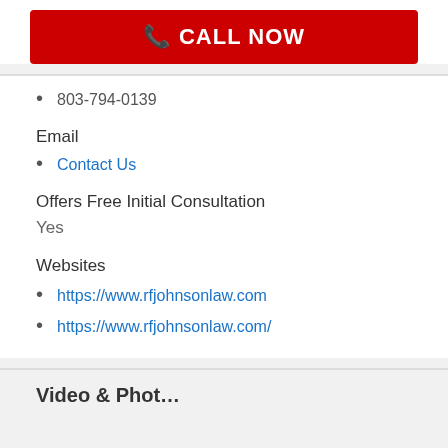[Figure (other): Red CALL NOW button with phone icon]
803-794-0139
Email
Contact Us
Offers Free Initial Consultation
Yes
Websites
https://www.rfjohnsonlaw.com
https://www.rfjohnsonlaw.com/
Video & Photos